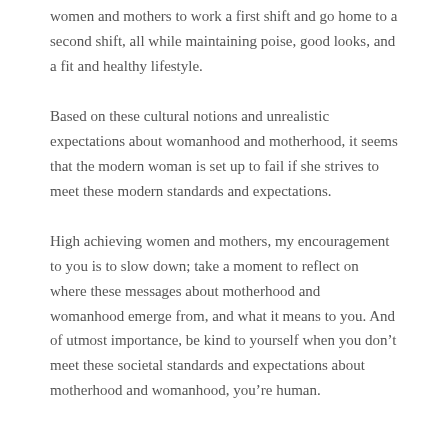women and mothers to work a first shift and go home to a second shift, all while maintaining poise, good looks, and a fit and healthy lifestyle.
Based on these cultural notions and unrealistic expectations about womanhood and motherhood, it seems that the modern woman is set up to fail if she strives to meet these modern standards and expectations.
High achieving women and mothers, my encouragement to you is to slow down; take a moment to reflect on where these messages about motherhood and womanhood emerge from, and what it means to you. And of utmost importance, be kind to yourself when you don't meet these societal standards and expectations about motherhood and womanhood, you're human.